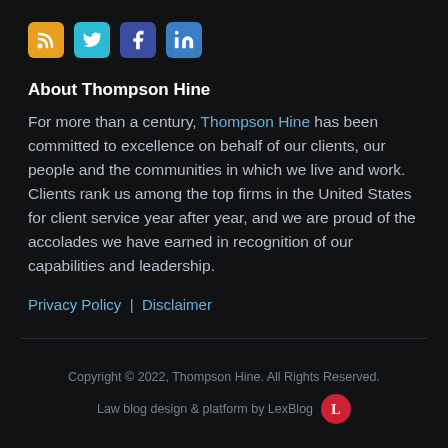[Figure (logo): Social media icons: RSS (orange), Twitter (cyan), Facebook (dark blue), LinkedIn (blue)]
About Thompson Hine
For more than a century, Thompson Hine has been committed to excellence on behalf of our clients, our people and the communities in which we live and work. Clients rank us among the top firms in the United States for client service year after year, and we are proud of the accolades we have earned in recognition of our capabilities and leadership.
Privacy Policy  |  Disclaimer
Copyright © 2022, Thompson Hine. All Rights Reserved.
Law blog design & platform by LexBlog